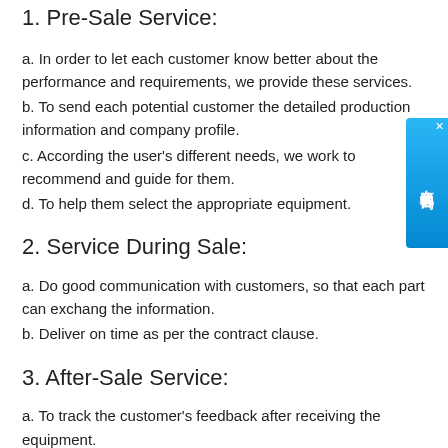1. Pre-Sale Service:
a. In order to let each customer know better about the performance and requirements, we provide these services.
b. To send each potential customer the detailed production information and company profile.
c. According the user's different needs, we work to recommend and guide for them.
d. To help them select the appropriate equipment.
2. Service During Sale:
a. Do good communication with customers, so that each part can exchang the information.
b. Deliver on time as per the contract clause.
3. After-Sale Service:
a. To track the customer's feedback after receiving the equipment.
b. Any product quality we receive, the technical personnel will guide to solve the problem.